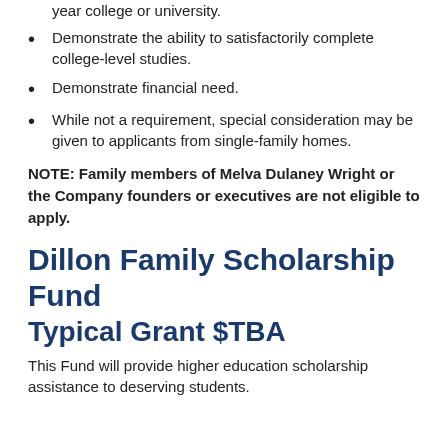year college or university.
Demonstrate the ability to satisfactorily complete college-level studies.
Demonstrate financial need.
While not a requirement, special consideration may be given to applicants from single-family homes.
NOTE: Family members of Melva Dulaney Wright or the Company founders or executives are not eligible to apply.
Dillon Family Scholarship Fund
Typical Grant $TBA
This Fund will provide higher education scholarship assistance to deserving students.